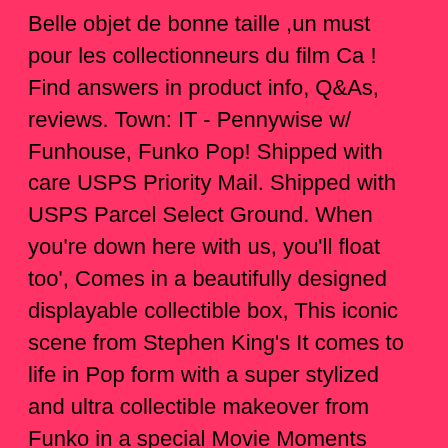Belle objet de bonne taille ,un must pour les collectionneurs du film Ca ! Find answers in product info, Q&As, reviews. Town: IT - Pennywise w/ Funhouse, Funko Pop! Shipped with care USPS Priority Mail. Shipped with USPS Parcel Select Ground. When you're down here with us, you'll float too', Comes in a beautifully designed displayable collectible box, This iconic scene from Stephen King's It comes to life in Pop form with a super stylized and ultra collectible makeover from Funko in a special Movie Moments series, Reviewed in the United Kingdom on 6 April 2019. awful. Belle objet de bonne taille ,un must pour les collectionneurs du film Ca ! ( BNIB ). ! Depicting the scene in which poor Georgie meets his demise as he attempts to retrieve his S.S. Georgie from the shape shifting being, International Orders: Inquire by email.